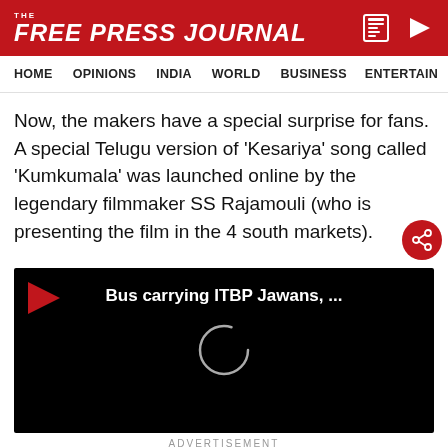THE FREE PRESS JOURNAL
HOME | OPINIONS | INDIA | WORLD | BUSINESS | ENTERTAIN
Now, the makers have a special surprise for fans. A special Telugu version of 'Kesariya' song called 'Kumkumala' was launched online by the legendary filmmaker SS Rajamouli (who is presenting the film in the 4 south markets).
[Figure (screenshot): Black video player with red play arrow icon at top-left, white bold text 'Bus carrying ITBP Jawans, ...' centered near top, and a loading spinner circle centered in the player]
ADVERTISEMENT